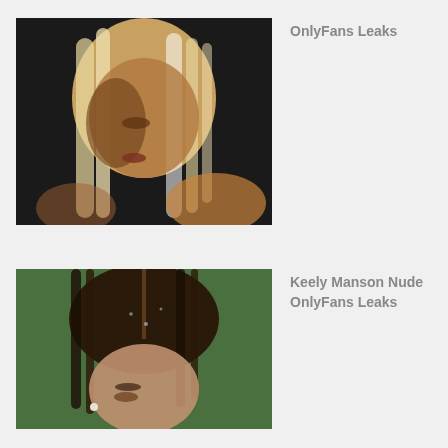[Figure (photo): Close-up photo of a blonde woman with long straight hair looking downward against a dark background, bare shoulders visible]
OnlyFans Leaks
[Figure (photo): Close-up photo of a brunette woman with wet dark hair looking downward against a green background, wearing a small pearl earring]
Keely Manson Nude OnlyFans Leaks